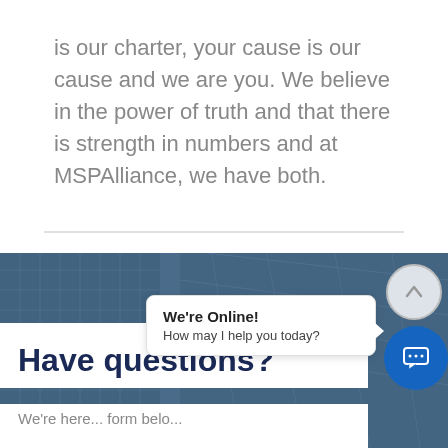is our charter, your cause is our cause and we are you. We believe in the power of truth and that there is strength in numbers and at MSPAlliance, we have both.
[Figure (photo): Blue-tinted photo of modern glass office buildings forming the background section]
Have questions?
We're here... form belo...
We're Online! How may I help you today?